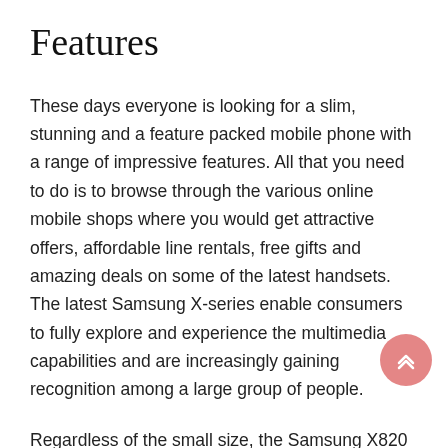Features
These days everyone is looking for a slim, stunning and a feature packed mobile phone with a range of impressive features. All that you need to do is to browse through the various online mobile shops where you would get attractive offers, affordable line rentals, free gifts and amazing deals on some of the latest handsets. The latest Samsung X-series enable consumers to fully explore and experience the multimedia capabilities and are increasingly gaining recognition among a large group of people.
Regardless of the small size, the Samsung X820 is packed with lots of features in a small size package. You can listen to your favourite music, record videos, capture some of the special moments of your life with the handset. All this is